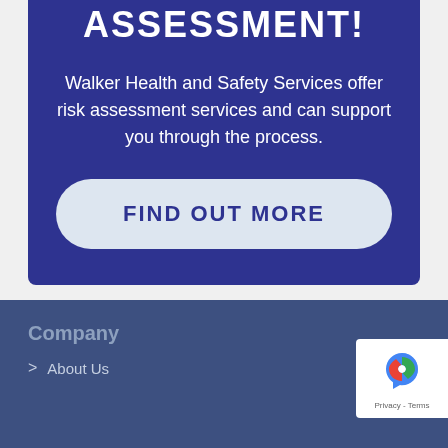ASSESSMENT!
Walker Health and Safety Services offer risk assessment services and can support you through the process.
FIND OUT MORE
Company
> About Us